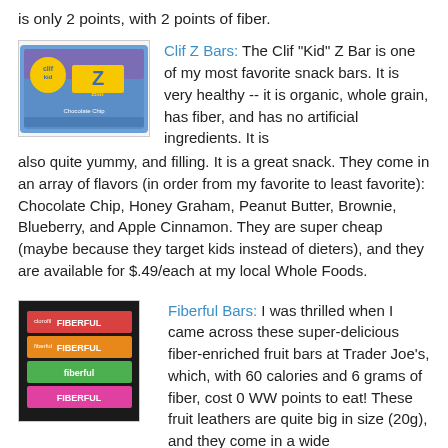is only 2 points, with 2 points of fiber.
[Figure (photo): Clif Kid Z Bar product image showing a blue wrapper with the Z Bar logo]
Clif Z Bars: The Clif "Kid" Z Bar is one of my most favorite snack bars. It is very healthy -- it is organic, whole grain, has fiber, and has no artificial ingredients. It is also quite yummy, and filling. It is a great snack. They come in an array of flavors (in order from my favorite to least favorite): Chocolate Chip, Honey Graham, Peanut Butter, Brownie, Blueberry, and Apple Cinnamon. They are super cheap (maybe because they target kids instead of dieters), and they are available for $.49/each at my local Whole Foods.
[Figure (photo): Fiberful Bars product image showing colorful fruit leather bars packaging]
Fiberful Bars: I was thrilled when I came across these super-delicious fiber-enriched fruit bars at Trader Joe's, which, with 60 calories and 6 grams of fiber, cost 0 WW points to eat! These fruit leathers are quite big in size (20g), and they come in a wide